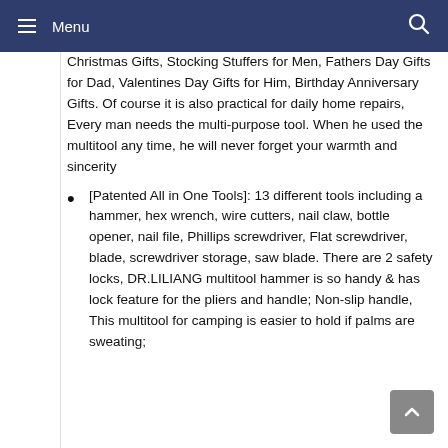Menu
Christmas Gifts, Stocking Stuffers for Men, Fathers Day Gifts for Dad, Valentines Day Gifts for Him, Birthday Anniversary Gifts. Of course it is also practical for daily home repairs, Every man needs the multi-purpose tool. When he used the multitool any time, he will never forget your warmth and sincerity
[Patented All in One Tools]: 13 different tools including a hammer, hex wrench, wire cutters, nail claw, bottle opener, nail file, Phillips screwdriver, Flat screwdriver, blade, screwdriver storage, saw blade. There are 2 safety locks, DR.LILIANG multitool hammer is so handy & has lock feature for the pliers and handle; Non-slip handle, This multitool for camping is easier to hold if palms are sweating;